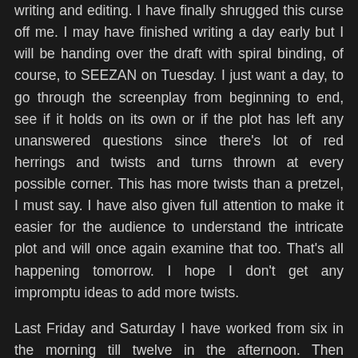writing and editing. I have finally shrugged this curse off me. I may have finished writing a day early but I will be handing over the draft with spiral binding, of course, to SEEZAN on Tuesday. I just want a day, to go through the screenplay from beginning to end, see if it holds on its own or if the plot has left any unanswered questions since there's lot of red herrings and twists and turns thrown at every possible corner. This has more twists than a pretzel, I must say. I have also given full attention to make it easier for the audience to understand the intricate plot and will once again examine that too. That's all happening tomorrow. I hope I don't get any impromptu ideas to add more twists.
Last Friday and Saturday I have worked from six in the morning till twelve in the afternoon. Then resumed writing from four in the evening till eight at night. I finished the screenplay today, before twelve. I guess when I get in to the right groove, there's no letting up. Probably, the third act was more fun than the first two acts since tables get turned unexpectedly with every